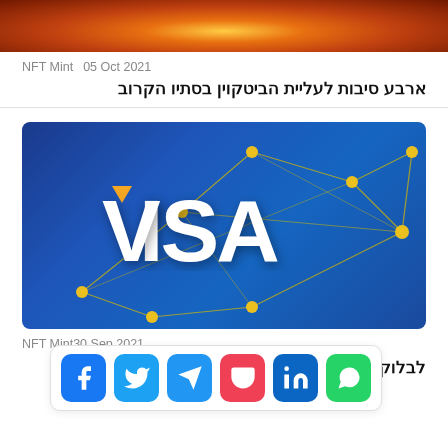[Figure (photo): Partial cropped top image showing fiery orange/red explosion or flame background]
NFT Mint   05 Oct 2021
ארבע סיבות לעליית הביטקוין בסתיו הקרוב
[Figure (photo): VISA logo on blue background with gold network connection lines and nodes]
NFT Mint   30 Sep 2021
לבלוקציין
[Figure (infographic): Social share bar with icons for Facebook, Twitter, Telegram, Pocket, LinkedIn, WhatsApp]